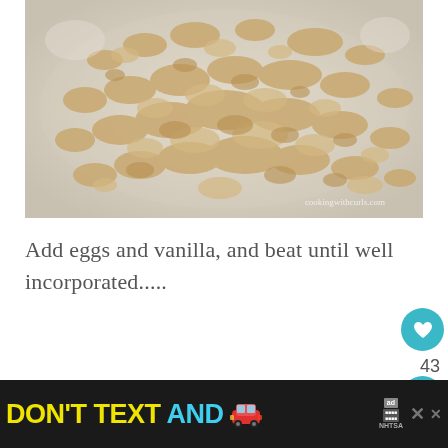[Figure (photo): Close-up photo of crumbly tan/beige dry mixture (flour-butter crumble) in a glass or metal bowl, light background. Watermark: cookingwithcurls.com]
Add eggs and vanilla, and beat until well incorporated.....
[Figure (photo): Partial close-up photo of the same crumbly tan mixture in a bowl, bottom portion cut off by banner ad.]
[Figure (screenshot): Advertisement banner at bottom of page. Black background. Yellow text: DON'T TEXT, cyan text: AND, red car emoji, ad badge, NHTSA logo, close X button, share icon.]